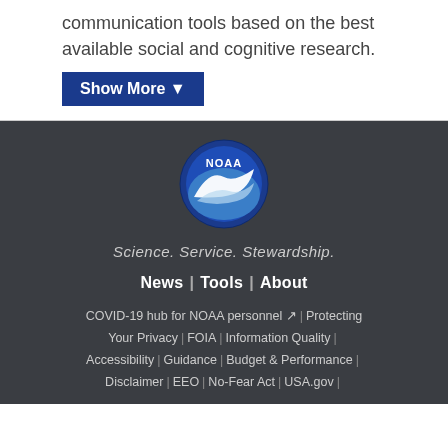communication tools based on the best available social and cognitive research.
Show More ▼
[Figure (logo): NOAA circular logo with blue background and white bird/wave design, with 'NOAA' text]
Science. Service. Stewardship.
News | Tools | About
COVID-19 hub for NOAA personnel ↗ | Protecting Your Privacy | FOIA | Information Quality | Accessibility | Guidance | Budget & Performance | Disclaimer | EEO | No-Fear Act | USA.gov |